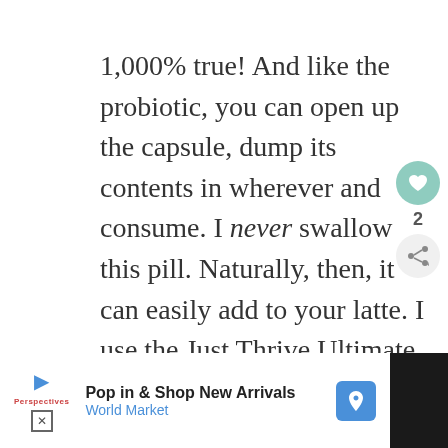1,000% true! And like the probiotic, you can open up the capsule, dump its contents in wherever and consume. I never swallow this pill. Naturally, then, it can easily add to your latte. I use the Just Thrive Ultimate IgG Immune and Digestive Support. You can learn all about it HERE. And if you purchase the immune
[Figure (screenshot): Advertisement bar at bottom showing 'Pop in & Shop New Arrivals' for World Market with blue map pin icon, play button, and close button on dark background]